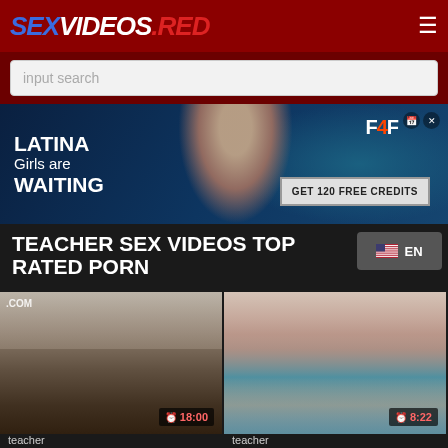SEXVIDEOS.RED
[Figure (screenshot): Search bar with placeholder text 'input search']
[Figure (photo): Advertisement banner: LATINA Girls are WAITING, F4F, GET 120 FREE CREDITS]
TEACHER SEX VIDEOS TOP RATED PORN
[Figure (screenshot): Language selector button showing EN with US flag]
[Figure (photo): Video thumbnail 1 with duration 18:00, watermark .COM]
[Figure (photo): Video thumbnail 2 with duration 8:22]
teacher
teacher